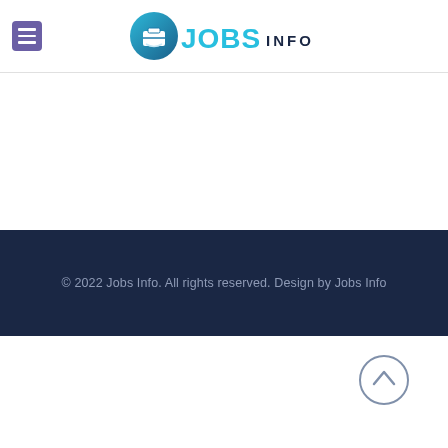JOBS INFO
© 2022 Jobs Info. All rights reserved. Design by Jobs Info